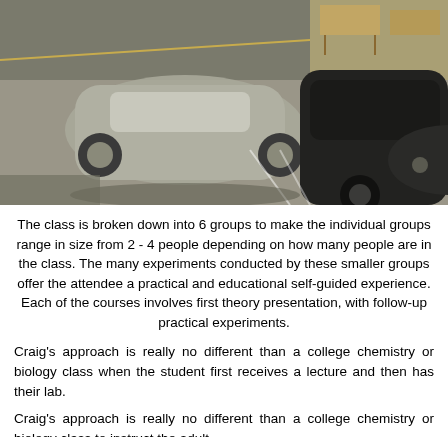[Figure (photo): Overhead/aerial view of a parking lot showing multiple cars parked, including a silver/gray sedan and a black car. The lot has concrete flooring with parking space markings visible. Tables and chairs visible in the background.]
The class is broken down into 6 groups to make the individual groups range in size from 2 - 4 people depending on how many people are in the class. The many experiments conducted by these smaller groups offer the attendee a practical and educational self-guided experience. Each of the courses involves first theory presentation, with follow-up practical experiments.
Craig's approach is really no different than a college chemistry or biology class when the student first receives a lecture and then has their lab.
Craig's approach is really no different than a college chemistry or biology class when the student first receives a lecture and then has their lab.